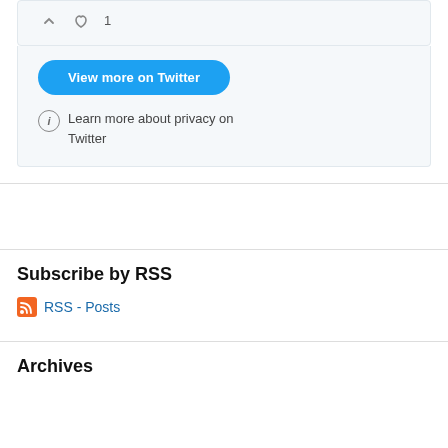[Figure (screenshot): Twitter embedded widget partial view with icons at top]
View more on Twitter
Learn more about privacy on Twitter
Subscribe by RSS
RSS - Posts
Archives